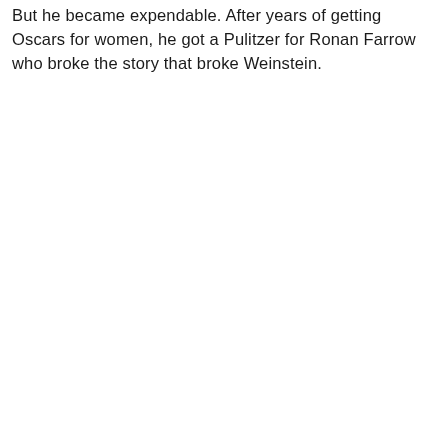But he became expendable. After years of getting Oscars for women, he got a Pulitzer for Ronan Farrow who broke the story that broke Weinstein.